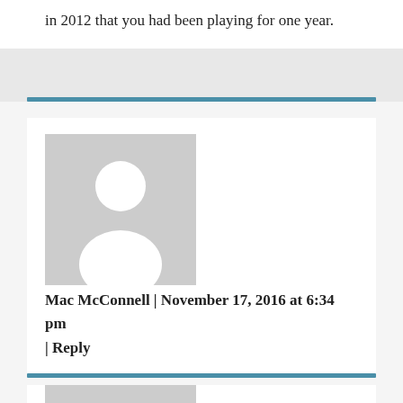in 2012 that you had been playing for one year.
Mac McConnell | November 17, 2016 at 6:34 pm | Reply
[Figure (illustration): Default user avatar placeholder — grey square with white silhouette of a person]
Favorite wooden racquet was the Slazenger Professional. That and tour blades were the only things on your list I could ever afford. 😉